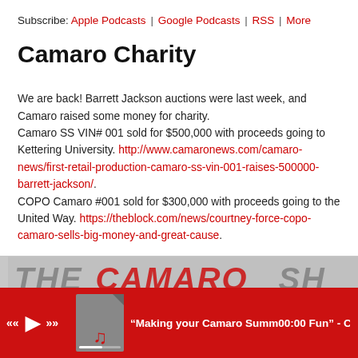Subscribe: Apple Podcasts | Google Podcasts | RSS | More
Camaro Charity
We are back! Barrett Jackson auctions were last week, and Camaro raised some money for charity. Camaro SS VIN# 001 sold for $500,000 with proceeds going to Kettering University. http://www.camaronews.com/camaro-news/first-retail-production-camaro-ss-vin-001-raises-500000-barrett-jackson/. COPO Camaro #001 sold for $300,000 with proceeds going to the United Way. https://theblock.com/news/courtney-force-copo-camaro-sells-big-money-and-great-cause.
[Figure (screenshot): Partial image of 'The Camaro Show' logo/banner in gray tones]
"Making your Camaro Summer 2020 Fun" - C  [audio player bar with controls]